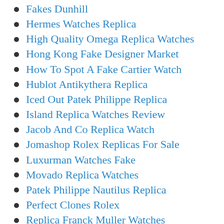Fakes Dunhill
Hermes Watches Replica
High Quality Omega Replica Watches
Hong Kong Fake Designer Market
How To Spot A Fake Cartier Watch
Hublot Antikythera Replica
Iced Out Patek Philippe Replica
Island Replica Watches Review
Jacob And Co Replica Watch
Jomashop Rolex Replicas For Sale
Luxurman Watches Fake
Movado Replica Watches
Patek Philippe Nautilus Replica
Perfect Clones Rolex
Replica Franck Muller Watches
Replica Gold Watches